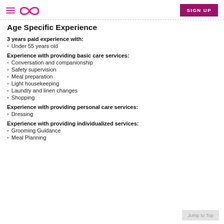Age Specific Experience - SIGN UP
Age Specific Experience
3 years paid experience with:
Under 55 years old
Experience with providing basic care services:
Conversation and companionship
Safety supervision
Meal preparation
Light housekeeping
Laundry and linen changes
Shopping
Experience with providing personal care services:
Dressing
Experience with providing individualized services:
Grooming Guidance
Meal Planning